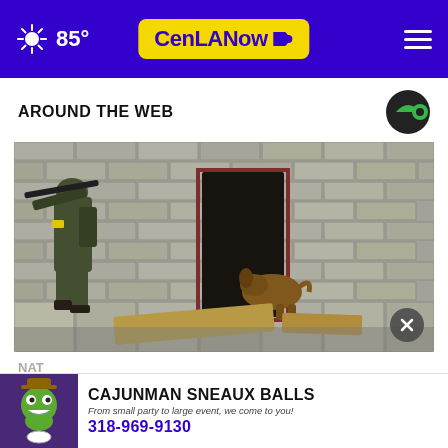85° CenLANow
AROUND THE WEB
[Figure (photo): Military soldier in camouflage gear aiming a rifle near a brick wall doorway with a dog entering the dark doorway; debris on ground]
NAT
Rus
[Figure (infographic): Cajunman Sneaux Balls advertisement banner. Text: CAJUNMAN SNEAUX BALLS, From small party to large event, we come to you!, 318-969-9130]